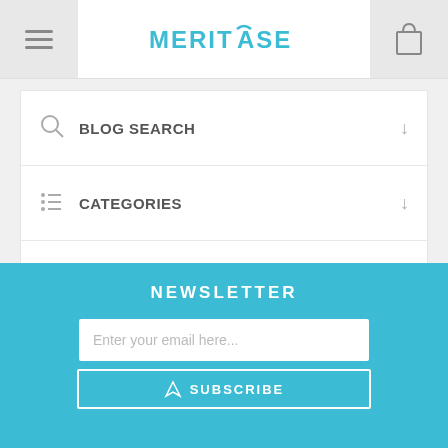MERITCASE - Navigation header with hamburger menu and shopping bag icon
BLOG SEARCH
CATEGORIES
BLOG ARCHIVE
POPULAR BLOG TAGS
NEWSLETTER
Enter your email here...
SUBSCRIBE